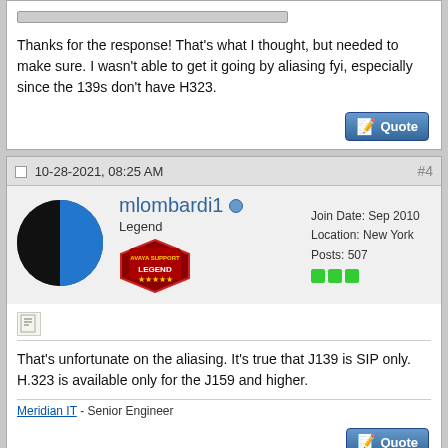Thanks for the response! That's what I thought, but needed to make sure. I wasn't able to get it going by aliasing fyi, especially since the 139s don't have H323.
10-28-2021, 08:25 AM
#4
mlombardi1
Legend
Join Date: Sep 2010
Location: New York
Posts: 507
That's unfortunate on the aliasing. It's true that J139 is SIP only. H.323 is available only for the J159 and higher.
Meridian IT - Senior Engineer
11-11-2021, 03:59 AM
#5